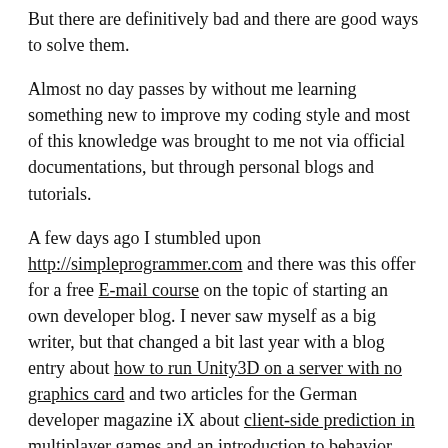But there are definitively bad and there are good ways to solve them.
Almost no day passes by without me learning something new to improve my coding style and most of this knowledge was brought to me not via official documentations, but through personal blogs and tutorials.
A few days ago I stumbled upon http://simpleprogrammer.com and there was this offer for a free E-mail course on the topic of starting an own developer blog. I never saw myself as a big writer, but that changed a bit last year with a blog entry about how to run Unity3D on a server with no graphics card and two articles for the German developer magazine iX about client-side prediction in multiplayer games and an introduction to behavior trees.